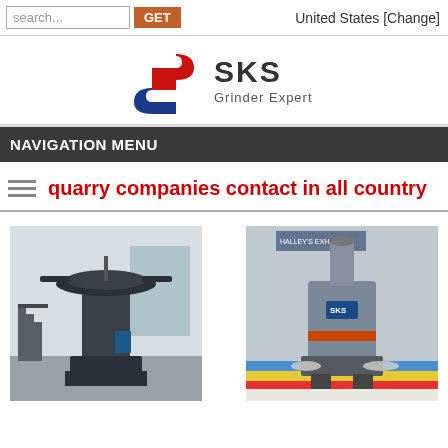search... GET   United States [Change]
[Figure (logo): SKS Grinder Expert logo with stylized S emblem in red and blue]
NAVIGATION MENU
quarry companies contact in all country
[Figure (photo): Large industrial grinding/milling machine in a factory setting]
[Figure (photo): Industrial cone crusher machine displayed in a large factory hall]